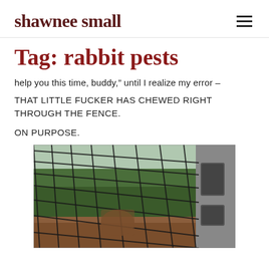shawnee small
Tag: rabbit pests
help you this time, buddy,” until I realize my error –
THAT LITTLE FUCKER HAS CHEWED RIGHT THROUGH THE FENCE.
ON PURPOSE.
[Figure (photo): Close-up photo of a wire mesh fence with a hole chewed through it, with trees visible in the background and a concrete block structure on the right side.]